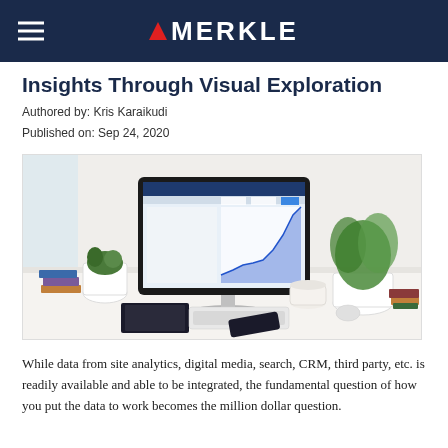MERKLE
Insights Through Visual Exploration
Authored by: Kris Karaikudi
Published on: Sep 24, 2020
[Figure (photo): A desk with an iMac computer displaying a blue area chart dashboard, surrounded by potted plants, a keyboard, a coffee cup, notebooks, and a smartphone.]
While data from site analytics, digital media, search, CRM, third party, etc. is readily available and able to be integrated, the fundamental question of how you put the data to work becomes the million dollar question.